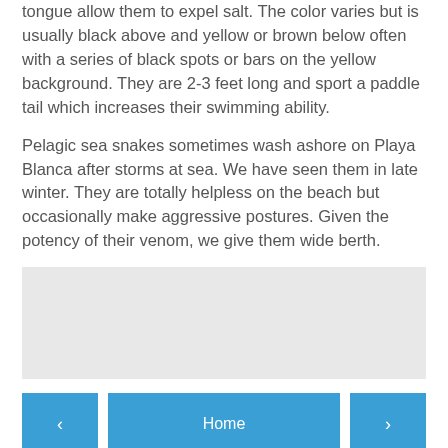tongue allow them to expel salt. The color varies but is usually black above and yellow or brown below often with a series of black spots or bars on the yellow background. They are 2-3 feet long and sport a paddle tail which increases their swimming ability.
Pelagic sea snakes sometimes wash ashore on Playa Blanca after storms at sea. We have seen them in late winter. They are totally helpless on the beach but occasionally make aggressive postures. Given the potency of their venom, we give them wide berth.
[Figure (other): Gray advertisement placeholder box]
< Home >
View web version
About Me
Barraster